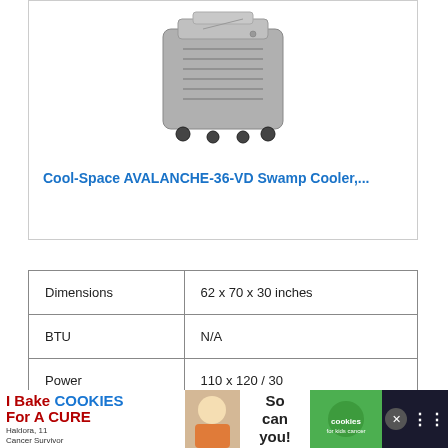[Figure (photo): Gray swamp cooler / evaporative cooler on caster wheels, viewed from a slight angle, gray speckled plastic body.]
Cool-Space AVALANCHE-36-VD Swamp Cooler,...
| Dimensions | 62 x 70 x 30 inches |
| BTU | N/A |
| Power | 110 x 120 / 30 |
[Figure (other): Advertisement banner: I Bake COOKIES For A CURE - Haldora, 11 Cancer Survivor - So can you! - cookies for kids cancer]